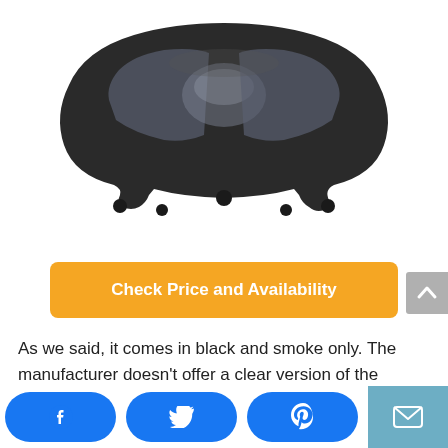[Figure (photo): Dark tinted motorcycle windshield, wide and curved shape with notched bottom edge, viewed from front at slight angle. Black frame with smoke/grey tinted panels.]
Check Price and Availability
As we said, it comes in black and smoke only. The manufacturer doesn't offer a clear version of the windshield.